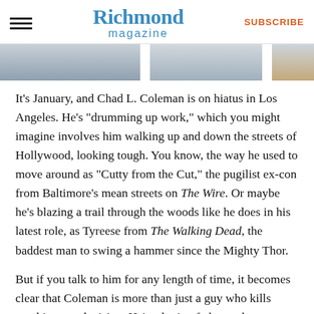Richmond magazine | SUBSCRIBE
[Figure (photo): Partial photo strip showing cropped images of a person, likely Chad L. Coleman]
It’s January, and Chad L. Coleman is on hiatus in Los Angeles. He’s “drumming up work,” which you might imagine involves him walking up and down the streets of Hollywood, looking tough. You know, the way he used to move around as “Cutty from the Cut,” the pugilist ex-con from Baltimore’s mean streets on The Wire. Or maybe he’s blazing a trail through the woods like he does in his latest role, as Tyreese from The Walking Dead, the baddest man to swing a hammer since the Mighty Thor.
But if you talk to him for any length of time, it becomes clear that Coleman is more than just a guy who kills zombies on television. He’s a loving father, a deep thinker